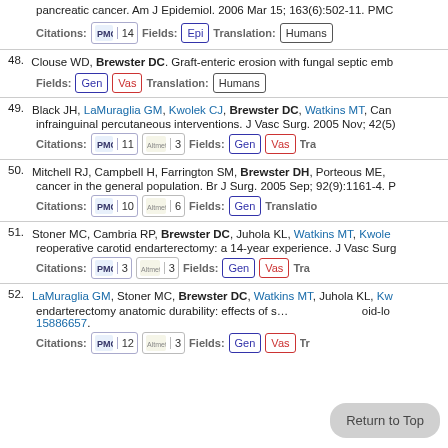pancreatic cancer. Am J Epidemiol. 2006 Mar 15; 163(6):502-11. PMC...
Citations: PMC 14   Fields: Epi   Translation: Humans
48. Clouse WD, Brewster DC. Graft-enteric erosion with fungal septic emb...   Fields: Gen Vas   Translation: Humans
49. Black JH, LaMuraglia GM, Kwolek CJ, Brewster DC, Watkins MT, Can... infrainguinal percutaneous interventions. J Vasc Surg. 2005 Nov; 42(5)...   Citations: PMC 11  Altmetric 3   Fields: Gen Vas   Tra...
50. Mitchell RJ, Campbell H, Farrington SM, Brewster DH, Porteous ME,... cancer in the general population. Br J Surg. 2005 Sep; 92(9):1161-4. P...   Citations: PMC 10  Altmetric 6   Fields: Gen   Translatio...
51. Stoner MC, Cambria RP, Brewster DC, Juhola KL, Watkins MT, Kwole... reoperative carotid endarterectomy: a 14-year experience. J Vasc Surg...   Citations: PMC 3  Altmetric 3   Fields: Gen Vas   Tra...
52. LaMuraglia GM, Stoner MC, Brewster DC, Watkins MT, Juhola KL, Kw... endarterectomy anatomic durability: effects of s... mid-lo... 15886657.   Citations: PMC 12  Altmetric 3   Fields: Gen Vas   Tr...